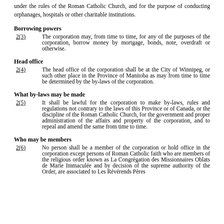under the rules of the Roman Catholic Church, and for the purpose of conducting orphanages, hospitals or other charitable institutions.
Borrowing powers
2(3)	The corporation may, from time to time, for any of the purposes of the corporation, borrow money by mortgage, bonds, note, overdraft or otherwise.
Head office
2(4)	The head office of the corporation shall be at the City of Winnipeg, or such other place in the Province of Manitoba as may from time to time be determined by the by-laws of the corporation.
What by-laws may be made
2(5)	It shall be lawful for the corporation to make by-laws, rules and regulations not contrary to the laws of this Province or of Canada, or the discipline of the Roman Catholic Church, for the government and proper administration of the affairs and property of the corporation, and to repeal and amend the same from time to time.
Who may be members
2(6)	No person shall be a member of the corporation or hold office in the corporation except persons of Roman Catholic faith who are members of the religious order known as La Congrégation des Missionnaires Oblats de Marie Immaculée and by decision of the supreme authority of the Order, are associated to Les Révérends Pères Oblats de la Province d'Manitoba and by the constitution of said Order.